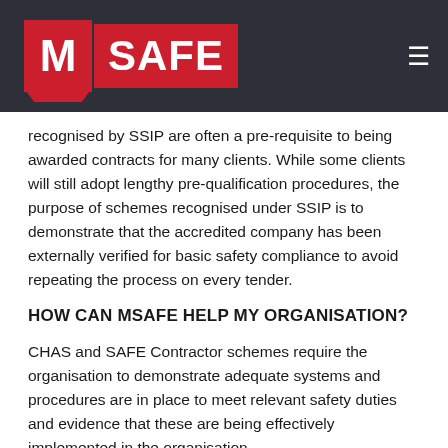MSAFE
recognised by SSIP are often a pre-requisite to being awarded contracts for many clients. While some clients will still adopt lengthy pre-qualification procedures, the purpose of schemes recognised under SSIP is to demonstrate that the accredited company has been externally verified for basic safety compliance to avoid repeating the process on every tender.
HOW CAN MSAFE HELP MY ORGANISATION?
CHAS and SAFE Contractor schemes require the organisation to demonstrate adequate systems and procedures are in place to meet relevant safety duties and evidence that these are being effectively implemented in the organisation.
Applying for CHAS or SAFE Contractor can be time consuming and confusing, particularly if you're not familiar with the terminology or the required standards set out in the scheme.